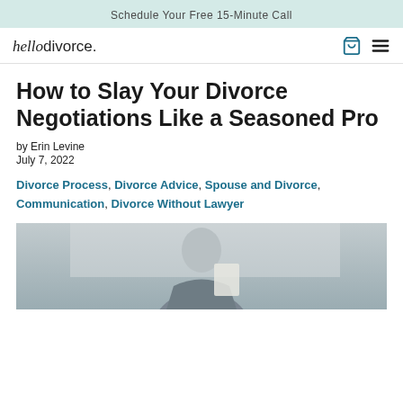Schedule Your Free 15-Minute Call
hellodivorce.
How to Slay Your Divorce Negotiations Like a Seasoned Pro
by Erin Levine
July 7, 2022
Divorce Process, Divorce Advice, Spouse and Divorce, Communication, Divorce Without Lawyer
[Figure (photo): Black and white photo of a person in a blazer holding papers, partially visible from waist up]